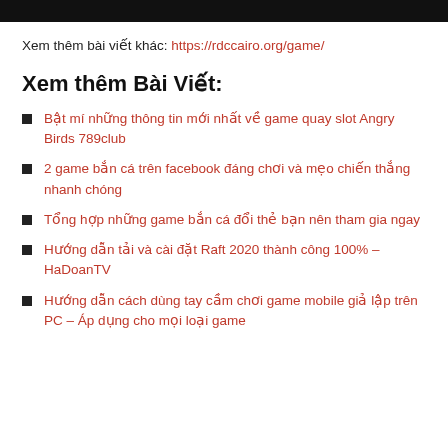Xem thêm bài viết khác: https://rdccairo.org/game/
Xem thêm Bài Viết:
Bật mí những thông tin mới nhất về game quay slot Angry Birds 789club
2 game bắn cá trên facebook đáng chơi và mẹo chiến thắng nhanh chóng
Tổng hợp những game bắn cá đổi thẻ bạn nên tham gia ngay
Hướng dẫn tải và cài đặt Raft 2020 thành công 100% – HaDoanTV
Hướng dẫn cách dùng tay cầm chơi game mobile giả lập trên PC – Áp dụng cho mọi loại game